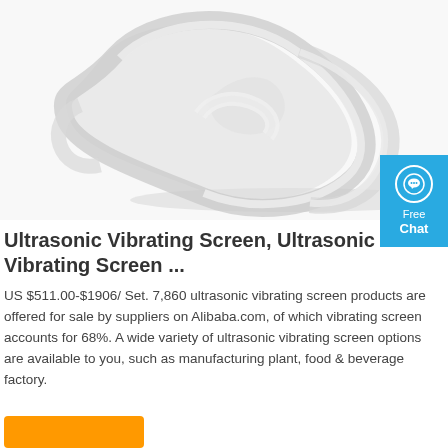[Figure (photo): White silicone/rubber band or seal ring looped on white background, product photo for ultrasonic vibrating screen component]
[Figure (infographic): Blue 'Free Chat' badge with chat bubble icon in circle, white text reading 'Free' and 'Chat']
Ultrasonic Vibrating Screen, Ultrasonic Vibrating Screen ...
US $511.00-$1906/ Set. 7,860 ultrasonic vibrating screen products are offered for sale by suppliers on Alibaba.com, of which vibrating screen accounts for 68%. A wide variety of ultrasonic vibrating screen options are available to you, such as manufacturing plant, food & beverage factory.